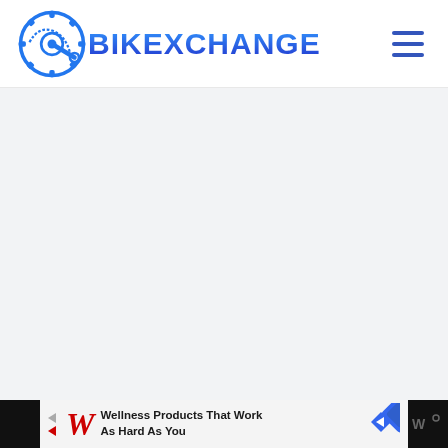BIKEXCHANGE
[Figure (screenshot): BikExchange website header with gear/crank logo on the left and hamburger menu icon on the right. Large light gray content area below the header.]
Wellness Products That Work As Hard As You